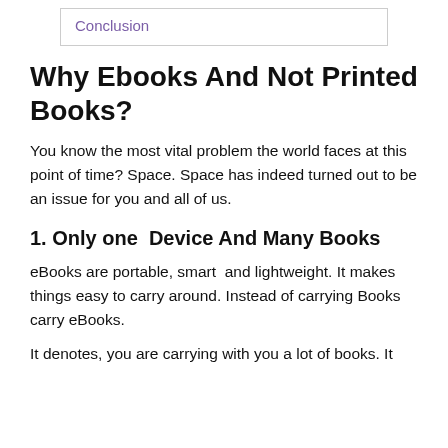Conclusion
Why Ebooks And Not Printed Books?
You know the most vital problem the world faces at this point of time? Space. Space has indeed turned out to be an issue for you and all of us.
1. Only one  Device And Many Books
eBooks are portable, smart  and lightweight. It makes things easy to carry around. Instead of carrying Books carry eBooks.
It denotes, you are carrying with you a lot of books. It